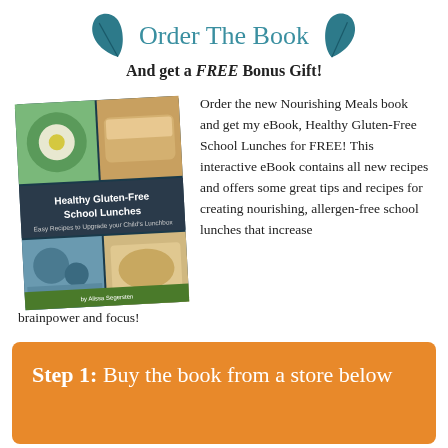Order The Book
And get a FREE Bonus Gift!
[Figure (illustration): Book cover for 'Healthy Gluten-Free School Lunches' with food photos arranged in a grid collage, shown at a slight angle]
Order the new Nourishing Meals book and get my eBook, Healthy Gluten-Free School Lunches for FREE! This interactive eBook contains all new recipes and offers some great tips and recipes for creating nourishing, allergen-free school lunches that increase brainpower and focus!
Step 1: Buy the book from a store below